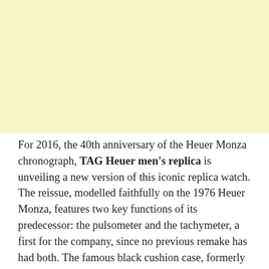[Figure (photo): Light yellow/cream colored rectangular image placeholder area occupying the top portion of the page.]
For 2016, the 40th anniversary of the Heuer Monza chronograph, TAG Heuer men's replica is unveiling a new version of this iconic replica watch. The reissue, modelled faithfully on the 1976 Heuer Monza, features two key functions of its predecessor: the pulsometer and the tachymeter, a first for the company, since no previous remake has had both. The famous black cushion case, formerly in steel, is now made of grade 5 titanium, and the